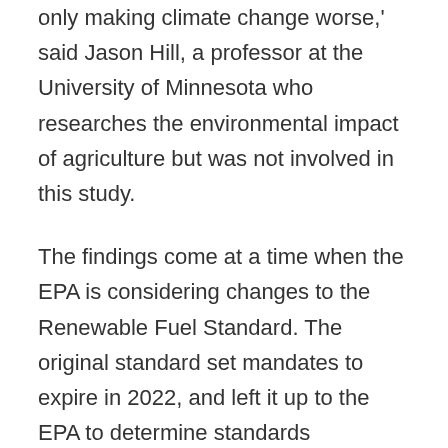only making climate change worse,' said Jason Hill, a professor at the University of Minnesota who researches the environmental impact of agriculture but was not involved in this study.
The findings come at a time when the EPA is considering changes to the Renewable Fuel Standard. The original standard set mandates to expire in 2022, and left it up to the EPA to determine standards thereafter. The agency is expected to announce the new blending requirements in May, to be enacted in 2023.
In an email, a representative from the EPA said the agency is reviewing the paper.
Meanwhile, proponents of biofuel argue the study